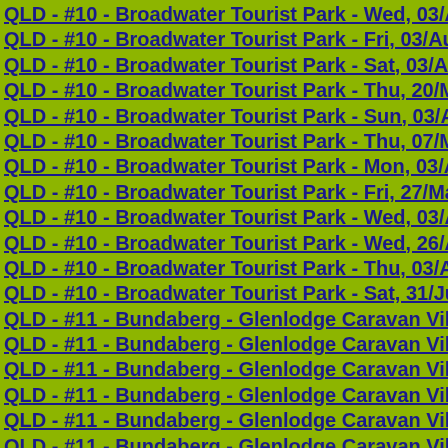QLD - #10 - Broadwater Tourist Park - Wed, 03/Aug/201…
QLD - #10 - Broadwater Tourist Park - Fri, 03/Aug/2012…
QLD - #10 - Broadwater Tourist Park - Sat, 03/Aug/2013…
QLD - #10 - Broadwater Tourist Park - Thu, 20/Mar/2014…
QLD - #10 - Broadwater Tourist Park - Sun, 03/Aug/2014…
QLD - #10 - Broadwater Tourist Park - Thu, 07/May/2015…
QLD - #10 - Broadwater Tourist Park - Mon, 03/Aug/2015…
QLD - #10 - Broadwater Tourist Park - Fri, 27/May/2016…
QLD - #10 - Broadwater Tourist Park - Wed, 03/Aug/2016…
QLD - #10 - Broadwater Tourist Park - Wed, 26/Apr/2017…
QLD - #10 - Broadwater Tourist Park - Thu, 03/Aug/2017…
QLD - #10 - Broadwater Tourist Park - Sat, 31/Jul/2021…
QLD - #11 - Bundaberg - Glenlodge Caravan Village - Fr…
QLD - #11 - Bundaberg - Glenlodge Caravan Village - Fr…
QLD - #11 - Bundaberg - Glenlodge Caravan Village - Tu…
QLD - #11 - Bundaberg - Glenlodge Caravan Village - Tu…
QLD - #11 - Bundaberg - Glenlodge Caravan Village - Th…
QLD - #11 - Bundaberg - Glenlodge Caravan Village - Fr…
QLD - #12 - Caboolture Cabins & Caravan Park - Thu, 2…
QLD - #13 - Cairns - Crystal Cascades CP - Fri, 20/Jun/2…
QLD - #13 - Cairns - Lake Placid Tourist Park - Wed, 05/…
QLD - #14 - Camooweal - Post Office Hotel Motel & Car…